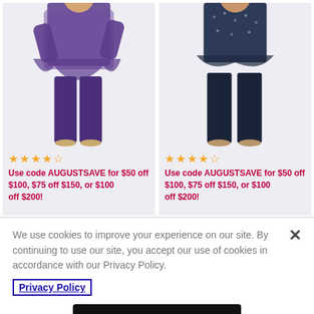[Figure (photo): Two female models wearing formal outfits. Left model wears purple lace top with matching purple pants. Right model wears navy sequined top with navy wide-leg pants.]
★★★★☆ (3.5-4 stars rating) | Use code AUGUSTSAVE for $50 off $100, $75 off $150, or $100 off $200! (shown for both products)
We use cookies to improve your experience on our site. By continuing to use our site, you accept our use of cookies in accordance with our Privacy Policy.
Privacy Policy
Accept Cookies